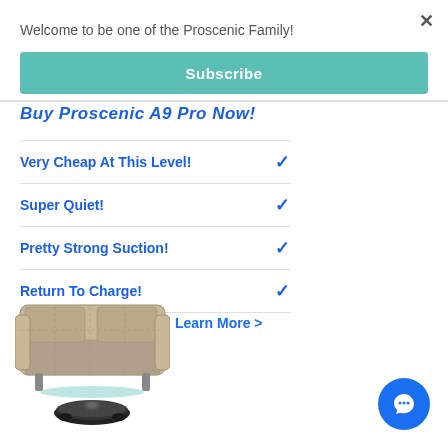Welcome to be one of the Proscenic Family!
Subscribe
Buy Proscenic A9 Pro Now!
Very Cheap At This Level! ✓
Super Quiet! ✓
Pretty Strong Suction! ✓
Return To Charge! ✓
Learn More >
[Figure (illustration): Robot vacuum cleaner underneath a sofa/couch illustration]
[Figure (illustration): Chat widget icon - circular blue button with speech bubble icon]